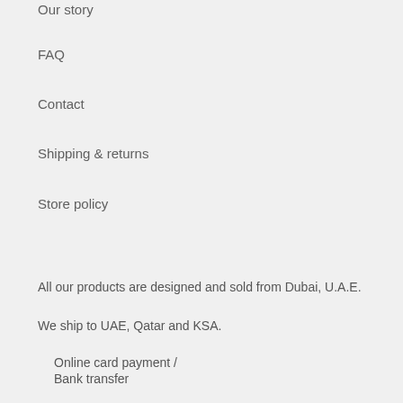Our story
FAQ
Contact
Shipping & returns
Store policy
All our products are designed and sold from Dubai, U.A.E.
We ship to UAE, Qatar and KSA.
Online card payment /
Bank transfer